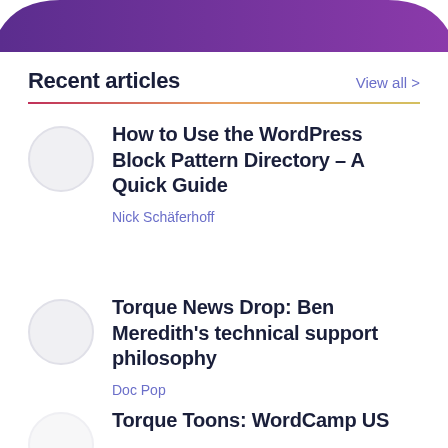[Figure (illustration): Purple gradient banner/header shape at the top of the page]
Recent articles
View all >
How to Use the WordPress Block Pattern Directory – A Quick Guide
Nick Schäferhoff
Torque News Drop: Ben Meredith's technical support philosophy
Doc Pop
Torque Toons: WordCamp US